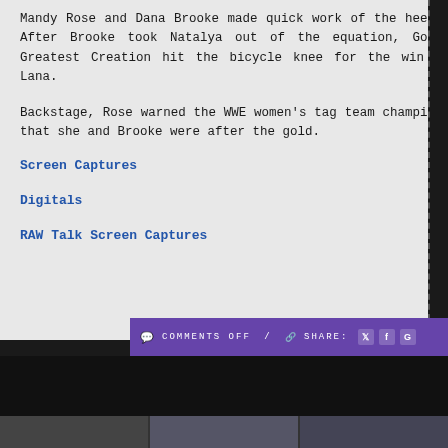Mandy Rose and Dana Brooke made quick work of the heels. After Brooke took Natalya out of the equation, God's Greatest Creation hit the bicycle knee for the win on Lana.
Backstage, Rose warned the WWE women's tag team champions that she and Brooke were after the gold.
Screen Captures
Digitals
RAW Talk Screen Captures
COMMENTS OFF / SHARE: